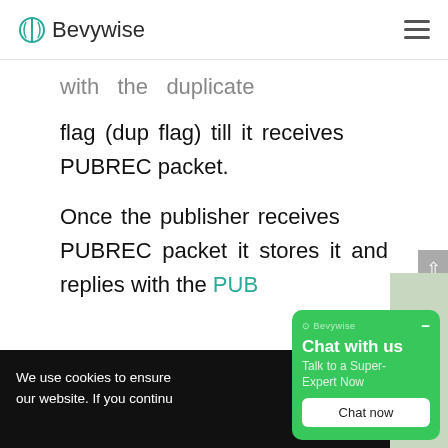Bevywise
with the duplicate flag (dup flag) till it receives PUBREC packet.
Once the publisher receives PUBREC packet it stores it and replies with the PUB...
We use cookies to ensure... our website. If you continu...
Chat with us Talk to a Super-Expert Now Chat now